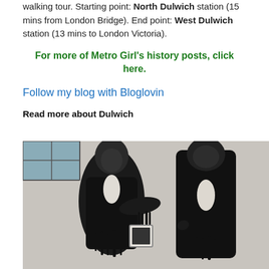walking tour. Starting point: North Dulwich station (15 mins from London Bridge). End point: West Dulwich station (13 mins to London Victoria).
For more of Metro Girl's history posts, click here.
Follow my blog with Bloglovin
Read more about Dulwich
[Figure (photo): Black and white photo of a Dulwich street art mural showing two darkly-painted figures facing each other against a pale wall, with dripping paint effect]